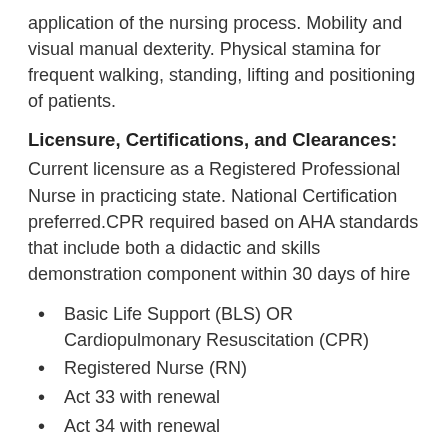application of the nursing process. Mobility and visual manual dexterity. Physical stamina for frequent walking, standing, lifting and positioning of patients.
Licensure, Certifications, and Clearances:
Current licensure as a Registered Professional Nurse in practicing state. National Certification preferred.CPR required based on AHA standards that include both a didactic and skills demonstration component within 30 days of hire
Basic Life Support (BLS) OR Cardiopulmonary Resuscitation (CPR)
Registered Nurse (RN)
Act 33 with renewal
Act 34 with renewal
Act 73 FBI Clearance with renewal